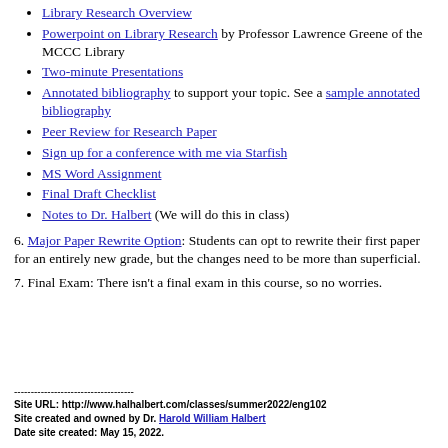Library Research Overview
Powerpoint on Library Research by Professor Lawrence Greene of the MCCC Library
Two-minute Presentations
Annotated bibliography to support your topic. See a sample annotated bibliography
Peer Review for Research Paper
Sign up for a conference with me via Starfish
MS Word Assignment
Final Draft Checklist
Notes to Dr. Halbert (We will do this in class)
6. Major Paper Rewrite Option: Students can opt to rewrite their first paper for an entirely new grade, but the changes need to be more than superficial.
7. Final Exam: There isn't a final exam in this course, so no worries.
-----------------------------------
Site URL: http://www.halhalbert.com/classes/summer2022/eng102
Site created and owned by Dr. Harold William Halbert
Date site created: May 15, 2022.